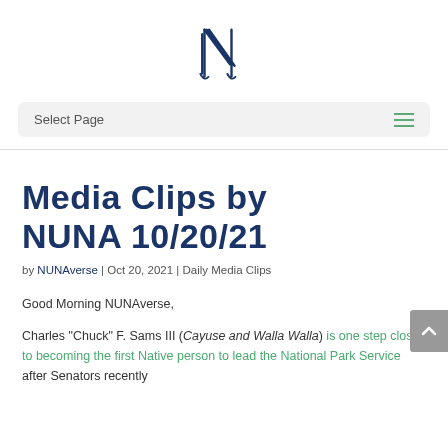[Figure (logo): NUNA stylized N logo in dark navy blue with diagonal line strokes]
Select Page
Media Clips by NUNA 10/20/21
by NUNAverse | Oct 20, 2021 | Daily Media Clips
Good Morning NUNAverse,
Charles "Chuck" F. Sams III (Cayuse and Walla Walla) is one step closer to becoming the first Native person to lead the National Park Service after Senators recently